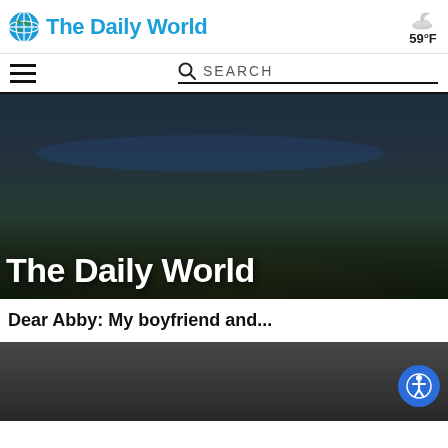The Daily World — 59°F
[Figure (screenshot): Navigation bar with hamburger menu and search field]
[Figure (photo): Aerial night photo of a coastal city with 'The Daily World' title overlaid in large white bold text]
Dear Abby: My boyfriend and...
[Figure (photo): Partial dark image at the bottom of the page with an accessibility icon button]